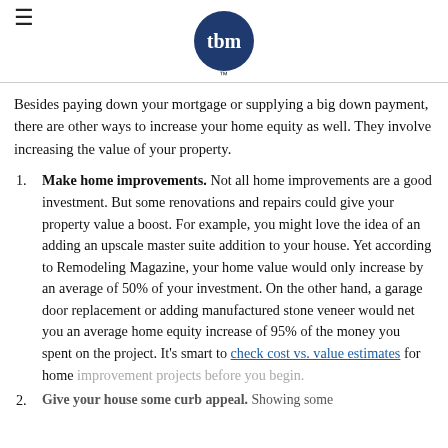tbm (logo)
Besides paying down your mortgage or supplying a big down payment, there are other ways to increase your home equity as well. They involve increasing the value of your property.
Make home improvements. Not all home improvements are a good investment. But some renovations and repairs could give your property value a boost. For example, you might love the idea of an adding an upscale master suite addition to your house. Yet according to Remodeling Magazine, your home value would only increase by an average of 50% of your investment. On the other hand, a garage door replacement or adding manufactured stone veneer would net you an average home equity increase of 95% of the money you spent on the project. It's smart to check cost vs. value estimates for home improvement projects before you begin.
Give your house some curb appeal. Showing some